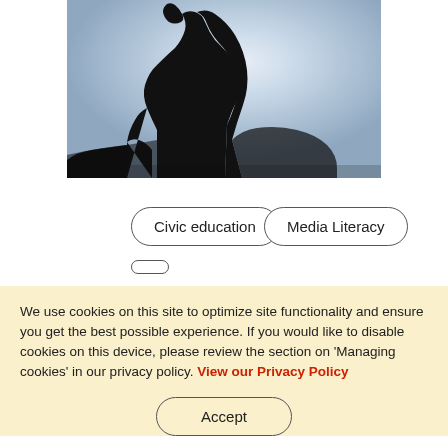[Figure (photo): Silhouette of a statue figure against a bright sky with blue gradient background]
Civic education
Media Literacy
We use cookies on this site to optimize site functionality and ensure you get the best possible experience. If you would like to disable cookies on this device, please review the section on 'Managing cookies' in our privacy policy. View our Privacy Policy
Accept